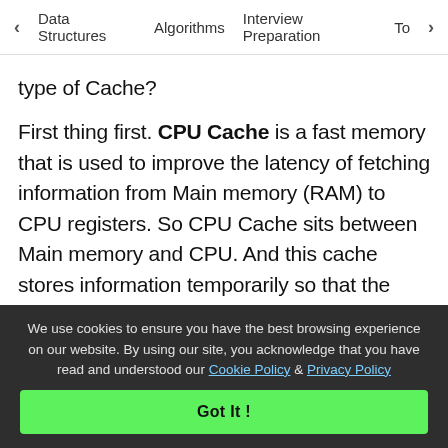< Data Structures   Algorithms   Interview Preparation   To>
type of Cache?

First thing first. CPU Cache is a fast memory that is used to improve the latency of fetching information from Main memory (RAM) to CPU registers. So CPU Cache sits between Main memory and CPU. And this cache stores information temporarily so that the next access to the same information is faster. A CPU cache which used to store executable instructions, it's called Instruction Cache (I-Cache). A CPU cache is used
We use cookies to ensure you have the best browsing experience on our website. By using our site, you acknowledge that you have read and understood our Cookie Policy & Privacy Policy
Got It !